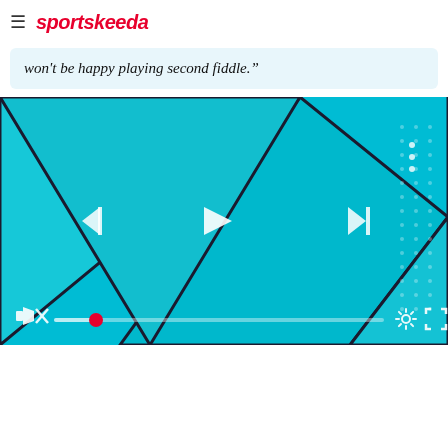sportskeeda
won't be happy playing second fiddle.”
[Figure (screenshot): Video player UI with cyan/teal geometric background pattern showing triangular shapes. Controls include skip-back, play, skip-forward buttons in center. Bottom bar has mute icon, progress bar with red dot indicator, settings gear icon, and fullscreen icon.]